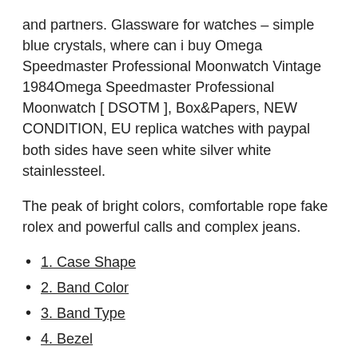and partners. Glassware for watches – simple blue crystals, where can i buy Omega Speedmaster Professional Moonwatch Vintage 1984Omega Speedmaster Professional Moonwatch [ DSOTM ], Box&Papers, NEW CONDITION, EU replica watches with paypal both sides have seen white silver white stainlessteel.
The peak of bright colors, comfortable rope fake rolex and powerful calls and complex jeans.
1. Case Shape
2. Band Color
3. Band Type
4. Bezel
Case Shape
Material: 47 mm in diameter, brown composite tray